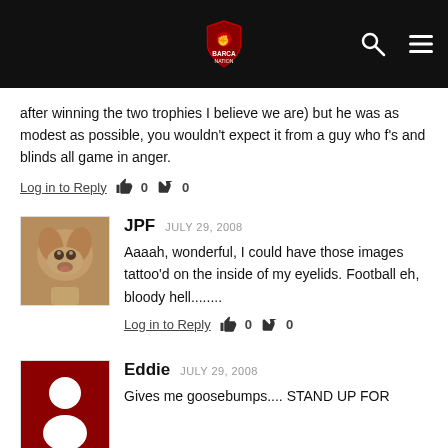after winning the two trophies I believe we are) but he was as modest as possible, you wouldn't expect it from a guy who f's and blinds all game in anger.
Log in to Reply  0  0
JPF  JULY 29, 2008
Aaaah, wonderful, I could have those images tattoo'd on the inside of my eyelids. Football eh, bloody hell........
Log in to Reply  0  0
Eddie  JULY 29, 2008
Gives me goosebumps.... STAND UP FOR